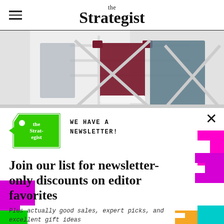the Strategist
[Figure (photo): Photo of a clothes drying rack with garments hung on it — a maroon shirt, grey items — white metal frame against a light background]
[Figure (logo): Green price-tag shaped logo with 'the Strategist' text in white]
WE HAVE A NEWSLETTER!
Join our list for newsletter-only discounts on editor favorites
Plus actually good sales, expert picks, and excellent gift ideas
Enter email here
SIGN ME UP
NO THANKS